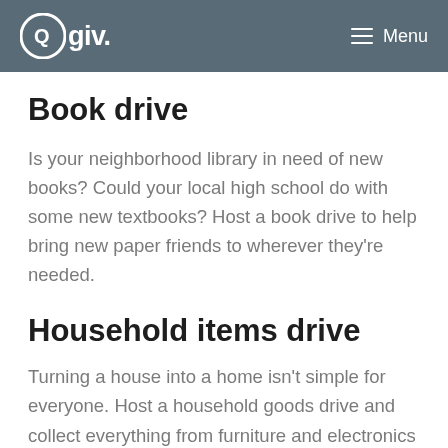Qgiv. Menu
Book drive
Is your neighborhood library in need of new books? Could your local high school do with some new textbooks? Host a book drive to help bring new paper friends to wherever they're needed.
Household items drive
Turning a house into a home isn't simple for everyone. Host a household goods drive and collect everything from furniture and electronics to pots and pans so new transplants to your